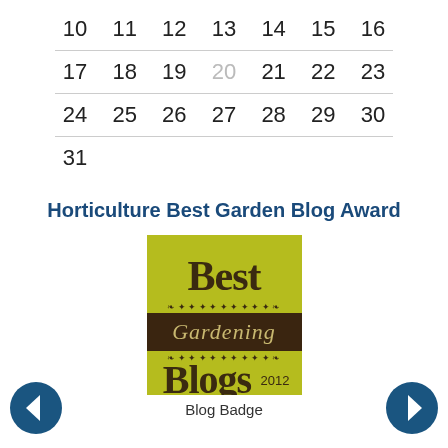| 10 | 11 | 12 | 13 | 14 | 15 | 16 |
| 17 | 18 | 19 | 20 | 21 | 22 | 23 |
| 24 | 25 | 26 | 27 | 28 | 29 | 30 |
| 31 |  |  |  |  |  |  |
Horticulture Best Garden Blog Award
[Figure (illustration): Best Gardening Blogs 2012 badge with olive/yellow-green background, dark brown banner reading Gardening, large text Best, and Blogs 2012]
Blog Badge